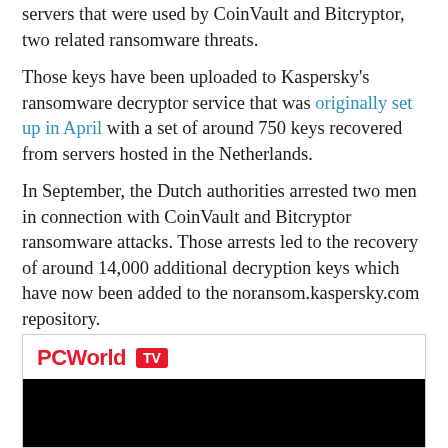servers that were used by CoinVault and Bitcryptor, two related ransomware threats.
Those keys have been uploaded to Kaspersky's ransomware decryptor service that was originally set up in April with a set of around 750 keys recovered from servers hosted in the Netherlands.
In September, the Dutch authorities arrested two men in connection with CoinVault and Bitcryptor ransomware attacks. Those arrests led to the recovery of around 14,000 additional decryption keys which have now been added to the noransom.kaspersky.com repository.
[Figure (other): PCWorld TV video embed with red PCWorld logo and TV badge, with black video screen area below]